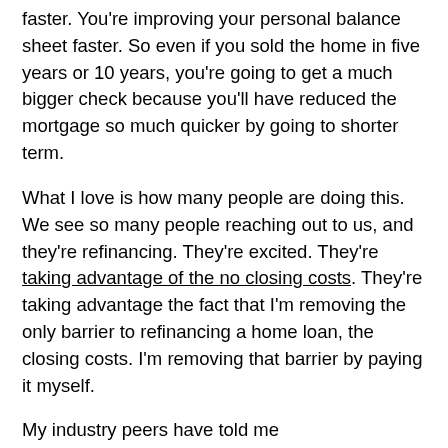faster. You're improving your personal balance sheet faster. So even if you sold the home in five years or 10 years, you're going to get a much bigger check because you'll have reduced the mortgage so much quicker by going to shorter term.
What I love is how many people are doing this. We see so many people reaching out to us, and they're refinancing. They're excited. They're taking advantage of the no closing costs. They're taking advantage the fact that I'm removing the only barrier to refinancing a home loan, the closing costs. I'm removing that barrier by paying it myself.
My industry peers have told me